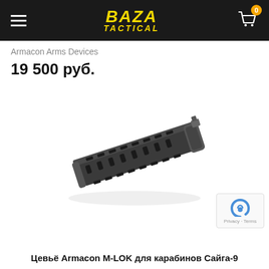BAZA TACTICAL
Armacon Arms Devices
19 500 руб.
[Figure (photo): Product photo of an M-LOK handguard/forend for Saiga-9 carbine, dark grey/black aluminum, elongated with M-LOK slots along sides and bottom, viewed at an angle]
Privacy · Terms
Цевьё Armacon M-LOK для карабинов Сайга-9